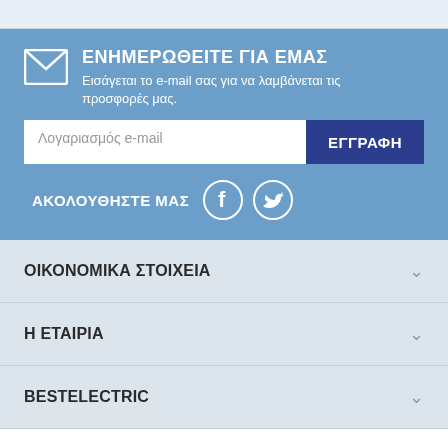ΕΝΗΜΕΡΩΘΕΙΤΕ ΓΙΑ ΕΜΑΣ
Εισάγεται το e-mail σας για να λαμβάνεται τις προσφορές μας.
Λογαριασμός e-mail
ΕΓΓΡΑΦΗ
ΑΚΟΛΟΥΘΗΣΤΕ ΜΑΣ
ΟΙΚΟΝΟΜΙΚΑ ΣΤΟΙΧΕΙΑ
Η ΕΤΑΙΡΙΑ
BESTELECTRIC